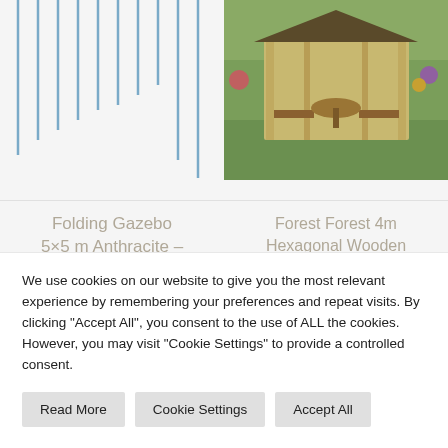[Figure (continuous-plot): Partial view of a bar/line chart with blue vertical lines on a light background, cropped at top]
[Figure (photo): Photo of a Forest 4m hexagonal wooden garden gazebo with bench seating, set in a garden with green grass and flowering plants]
Folding Gazebo 5x5 m Anthracite – Hommoo
Forest Forest 4m Hexagonal Wooden Garden Gazebo with
We use cookies on our website to give you the most relevant experience by remembering your preferences and repeat visits. By clicking "Accept All", you consent to the use of ALL the cookies. However, you may visit "Cookie Settings" to provide a controlled consent.
Read More
Cookie Settings
Accept All